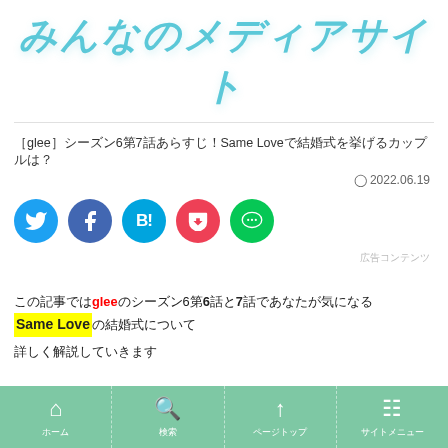みんなのメディアサイト
［glee］シーズン6第7話あらすじ！Same Loveで結婚式を挙げるカップルは？
2022.06.19
[Figure (infographic): Social share buttons: Twitter, Facebook, Hatena Bookmark, Pocket, LINE]
広告コンテンツ
この記事ではgleeのシーズン6第6話と7話であなたが気になるSame Loveの結婚式について
詳しく解説していきます